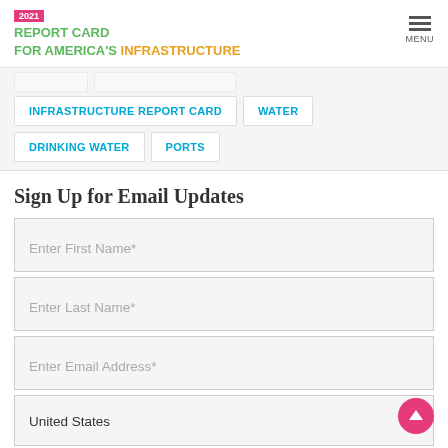2021 REPORT CARD FOR AMERICA'S INFRASTRUCTURE | MENU
INFRASTRUCTURE REPORT CARD
WATER
DRINKING WATER
PORTS
Sign Up for Email Updates
Enter First Name*
Enter Last Name*
Enter Email Address*
United States